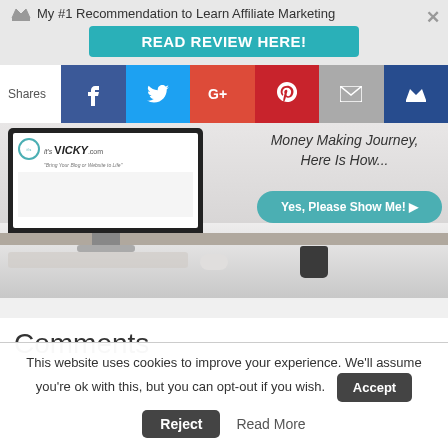My #1 Recommendation to Learn Affiliate Marketing — READ REVIEW HERE!
[Figure (screenshot): Social sharing bar with Facebook, Twitter, Google+, Pinterest, Email, and crown icon buttons. Label reads 'Shares'.]
[Figure (screenshot): Hero banner image showing a desktop computer with ItisVicky.com website on screen on a desk, with overlay text 'Money Making Journey, Here Is How...' and a teal CTA button 'Yes, Please Show Me!']
Comments
This website uses cookies to improve your experience. We'll assume you're ok with this, but you can opt-out if you wish.
Accept | Reject | Read More